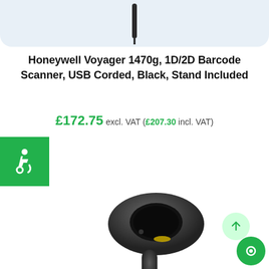[Figure (photo): Top portion of a barcode scanner handle/cable, cropped, on a light blue-grey rounded background panel]
Honeywell Voyager 1470g, 1D/2D Barcode Scanner, USB Corded, Black, Stand Included
£172.75 excl. VAT (£207.30 incl. VAT)
[Figure (illustration): Green square badge with white wheelchair accessibility icon]
[Figure (photo): Close-up photo of the Honeywell Voyager 1470g barcode scanner head angled forward, dark grey/black body, showing scanning window]
[Figure (illustration): Scroll-to-top button: upward arrow in a light green circle, and a green chat bubble circular button]